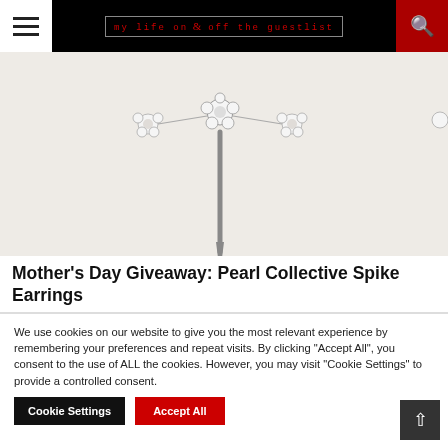≡  MY LIFE ON & OFF THE GUESTLIST  🔍
[Figure (photo): Pearl Collective spike earrings on a light background — floral pearl cluster tops with a long metallic spike pendant]
Mother's Day Giveaway: Pearl Collective Spike Earrings
We use cookies on our website to give you the most relevant experience by remembering your preferences and repeat visits. By clicking "Accept All", you consent to the use of ALL the cookies. However, you may visit "Cookie Settings" to provide a controlled consent.
Cookie Settings   Accept All